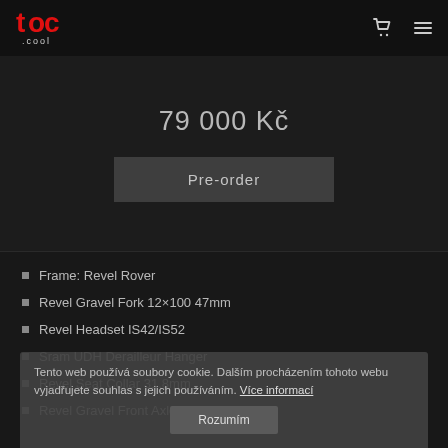tpc .cool — navigation bar with cart and menu icons
79 000 Kč
Pre-order
Frame: Revel Rover
Revel Gravel Fork 12×100 47mm
Revel Headset IS42/IS52
Sram UDH Derailleur Hanger
Revel Seat Collar 31.8mm
Revel Gravel Front Axle 12x119mm
Tento web používá soubory cookie. Dalším procházením tohoto webu vyjadřujete souhlas s jejich používáním. Více informací
Rozumím